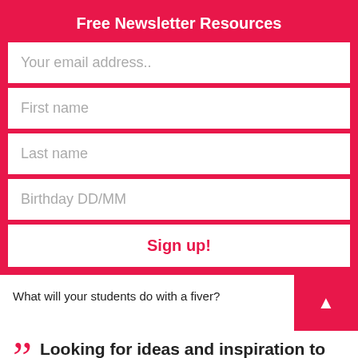Free Newsletter Resources
Your email address..
First name
Last name
Birthday DD/MM
Sign up!
What will your students do with a fiver?
Looking for ideas and inspiration to help raise pupil's aspirations and develop positive attitu
Our Privacy and Cookies Policy